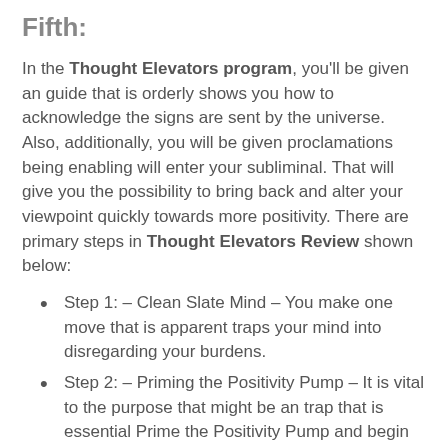Fifth:
In the Thought Elevators program, you'll be given an guide that is orderly shows you how to acknowledge the signs are sent by the universe. Also, additionally, you will be given proclamations being enabling will enter your subliminal. That will give you the possibility to bring back and alter your viewpoint quickly towards more positivity. There are primary steps in Thought Elevators Review shown below:
Step 1: – Clean Slate Mind – You make one move that is apparent traps your mind into disregarding your burdens.
Step 2: – Priming the Positivity Pump – It is vital to the purpose that might be an trap that is essential Prime the Positivity Pump and begin programming your head to send a confident sign subsequently to